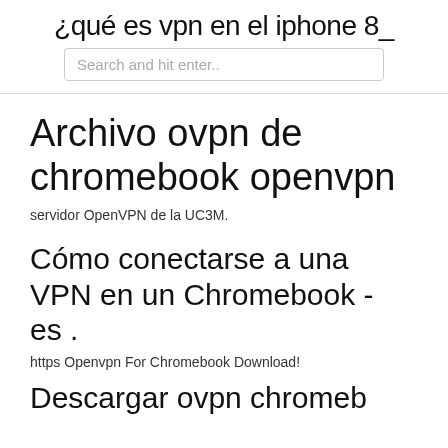¿qué es vpn en el iphone 8_
Search and hit enter..
Archivo ovpn de chromebook openvpn
servidor OpenVPN de la UC3M.
Cómo conectarse a una VPN en un Chromebook - es .
https Openvpn For Chromebook Download!
Descargar ovpn chromebook